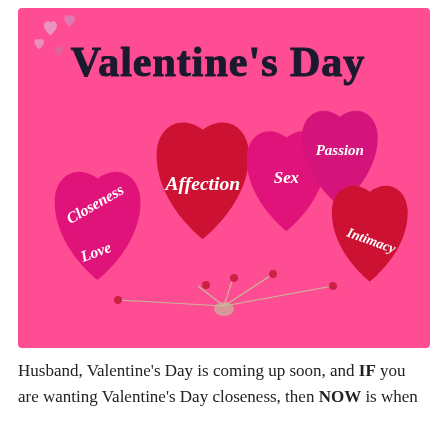[Figure (illustration): Valentine's Day graphic with pink background. Title 'Valentine's Day' in bold black serif font at top. Five heart-shaped balloons (mix of pink/magenta and red) with strings tied together at the bottom. Each heart balloon contains italic white text: 'Closeness', 'Affection', 'Love', 'Sex', 'Passion', 'Intimacy'. Small decorative pink hearts in the upper-left corner.]
Husband, Valentine's Day is coming up soon, and IF you are wanting Valentine's Day closeness, then NOW is when